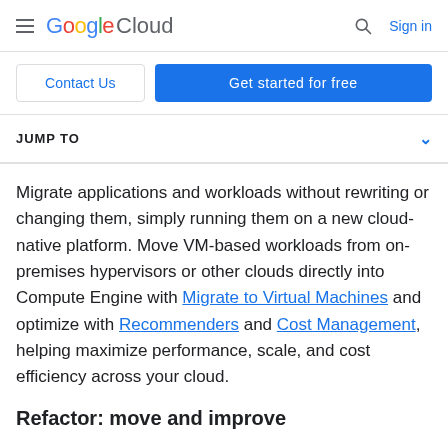Google Cloud — Sign in
Contact Us | Get started for free
JUMP TO
Migrate applications and workloads without rewriting or changing them, simply running them on a new cloud-native platform. Move VM-based workloads from on-premises hypervisors or other clouds directly into Compute Engine with Migrate to Virtual Machines and optimize with Recommenders and Cost Management, helping maximize performance, scale, and cost efficiency across your cloud.
Refactor: move and improve